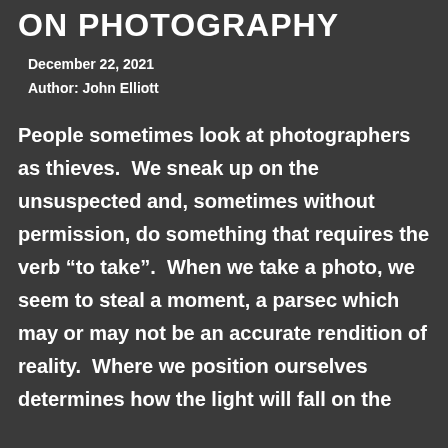ON PHOTOGRAPHY
December 22, 2021
Author: John Elliott
People sometimes look at photographers as thieves.  We sneak up on the unsuspected and, sometimes without permission, do something that requires the verb “to take”.  When we take a photo, we seem to steal a moment, a parsec which may or may not be an accurate rendition of reality.  Where we position ourselves determines how the light will fall on the